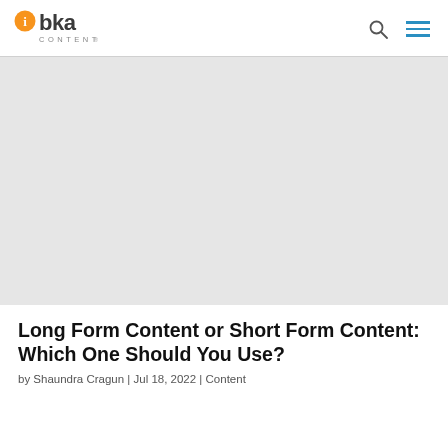BKA Content logo, search icon, menu icon
[Figure (photo): Hero/featured image placeholder for blog article about long form vs short form content]
Long Form Content or Short Form Content: Which One Should You Use?
by Shaundra Cragun | Jul 18, 2022 | Content